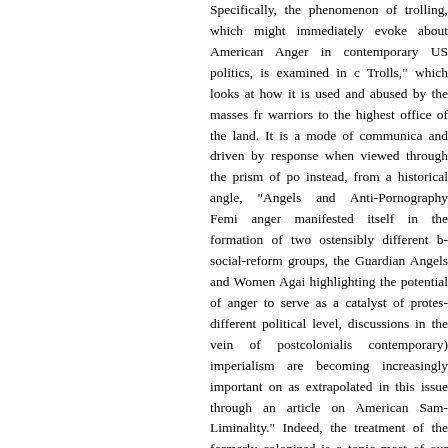Specifically, the phenomenon of trolling, which might immediately evoke about American Anger in contemporary US politics, is examined in Trolls, which looks at how it is used and abused by the masses from warriors to the highest office of the land. It is a mode of communication and driven by response when viewed through the prism of politics; instead, from a historical angle, Angels and Anti-Pornography Feminism anger manifested itself in the formation of two ostensibly different social-reform groups, the Guardian Angels and Women Against highlighting the potential of anger to serve as a catalyst of protest. At a different political level, discussions in the vein of postcolonialism and contemporary) imperialism are becoming increasingly important on as extrapolated in this issue through an article on American Samoa and Liminality. Indeed, the treatment of the formerly colonized is a topic in most of our thematic submissions this year. An innovative approach to the novel Ceremony told through the lens of Sylvia Wynter's theory of makes the reader pause and reflect on the very nature of colonialism itself.
In addition to these four thematic contributions, two further articles in engage more implicitly and highlight the disciplinary and methodological value of scholarship on the graduate level. Of Pregnant Kings and Manhattans: A comprehensive examination of the language and sexuality expressed in Left Hand of Darkness through a reinterpretation of intersex. Such challenges to established norms and topics are also visible in I'm Not a Real Human where the reader is privy to a questioning of the notions of classification and authenticity in Frances Ha. Overall, the different inquiries and approaches in this issue enrich our of understandings of 'America,' and many of them make those assumptions